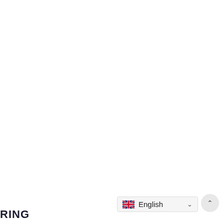[Figure (logo): RING logo text partially visible at bottom left]
[Figure (screenshot): Language selector UI widget showing UK flag and 'English' text with dropdown chevron, and a circular scroll-to-top button]